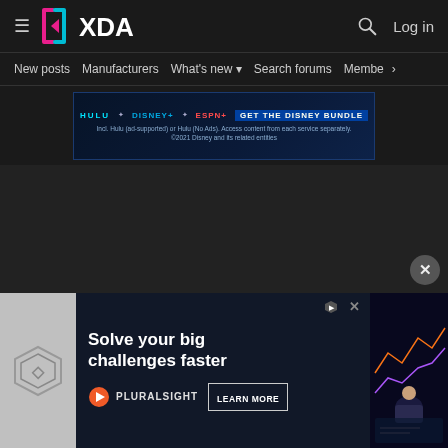[Figure (screenshot): XDA Developers website header with logo, hamburger menu, search icon, and Log in link]
New posts   Manufacturers   What's new   Search forums   Membe  >
[Figure (other): Disney Bundle advertisement banner with Hulu, Disney+, ESPN+ logos and text: GET THE DISNEY BUNDLE. Incl. Hulu (ad-supported) or Hulu (No Ads). Access content from each service separately. ©2021 Disney and its related entities]
[Figure (other): Close/X circular button in dark area]
[Figure (other): Pluralsight advertisement: Solve your big challenges faster. PLURALSIGHT LEARN MORE. With chart/graph and person at laptop image.]